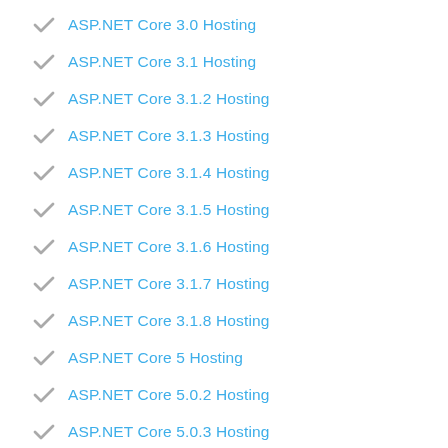ASP.NET Core 3.0 Hosting
ASP.NET Core 3.1 Hosting
ASP.NET Core 3.1.2 Hosting
ASP.NET Core 3.1.3 Hosting
ASP.NET Core 3.1.4 Hosting
ASP.NET Core 3.1.5 Hosting
ASP.NET Core 3.1.6 Hosting
ASP.NET Core 3.1.7 Hosting
ASP.NET Core 3.1.8 Hosting
ASP.NET Core 5 Hosting
ASP.NET Core 5.0.2 Hosting
ASP.NET Core 5.0.3 Hosting
ASP.NET Core 5.0.4 Hosting